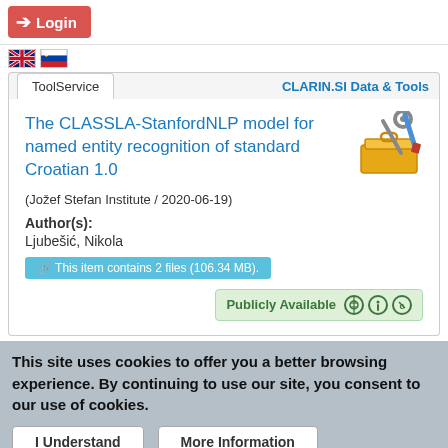Login
[Figure (screenshot): UK and Slovenian flag icons for language selection]
ToolService | CLARIN.SI Data & Tools
The CLASSLA-StanfordNLP model for named entity recognition of standard Croatian 1.0
[Figure (illustration): Toolbox icon with wrench and screwdriver]
(Jožef Stefan Institute / 2020-06-19)
Author(s): Ljubešić, Nikola
This item contains 2 files (106.34 MB).
Publicly Available
This site uses cookies to offer you a better browsing experience. By continuing to use our site, you consent to our use of cookies.